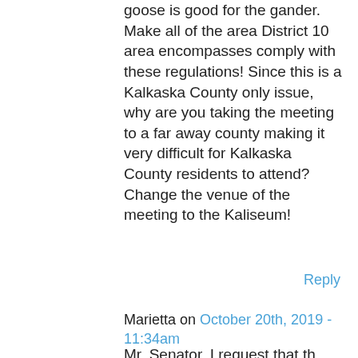goose is good for the gander. Make all of the area District 10 area encompasses comply with these regulations! Since this is a Kalkaska County only issue, why are you taking the meeting to a far away county making it very difficult for Kalkaska County residents to attend? Change the venue of the meeting to the Kaliseum!
Reply
Marietta on October 20th, 2019 - 11:34am
Mr. Senator, I request that the...